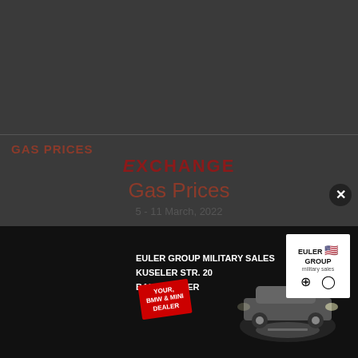GAS PRICES
EXCHANGE
Gas Prices
5 - 11 March, 2022
Due to the recent volatility in the global markets, the Exchange is unable to provide weekly updates regarding fuel pricing
We use... social m... informa... adverti...
[Figure (other): Advertisement overlay for Euler Group Military Sales, Kuseler Str. 20, Baumholder. Shows BMW and MINI dealer badge, a car with spotlight, and Euler Group logo with BMW and MINI brand icons.]